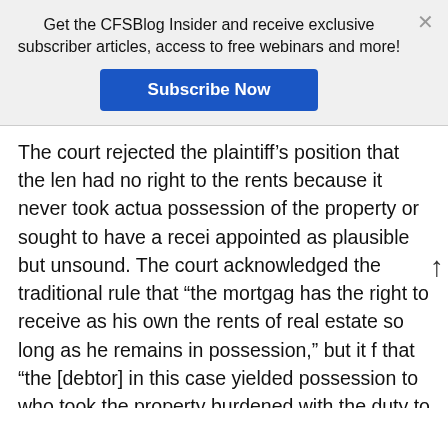Get the CFSBlog Insider and receive exclusive subscriber articles, access to free webinars and more!
Subscribe Now
The court rejected the plaintiff’s position that the lender had no right to the rents because it never took actual possession of the property or sought to have a receiver appointed as plausible but unsound. The court acknowledged the traditional rule that “the mortgagee has the right to receive as his own the rents of real estate so long as he remains in possession,” but it found that “the [debtor] in this case yielded possession to one who took the property burdened with the duty to administer it for the benefit of creditors.” The court further noted that although lenders ordinarily seek a receiver to enforce their right to the rents, the pending probate action precluded the lender from doing so, and the assignee for the benefit of creditors served the s